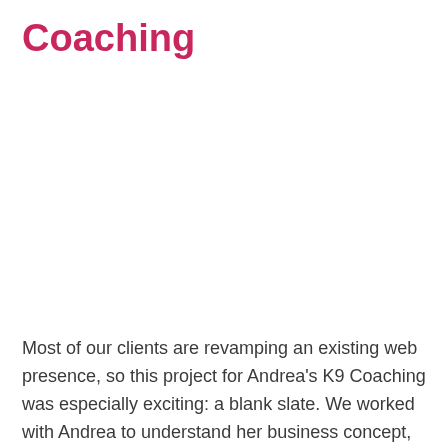Coaching
Most of our clients are revamping an existing web presence, so this project for Andrea's K9 Coaching was especially exciting: a blank slate. We worked with Andrea to understand her business concept,